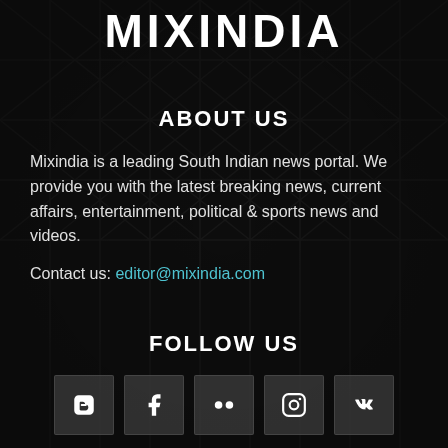MIXINDIA
ABOUT US
Mixindia is a leading South Indian news portal. We provide you with the latest breaking news, current affairs, entertainment, political & sports news and videos.
Contact us: editor@mixindia.com
FOLLOW US
[Figure (infographic): Row of 5 social media icon buttons: Blogger, Facebook, Flickr, Instagram, VK]